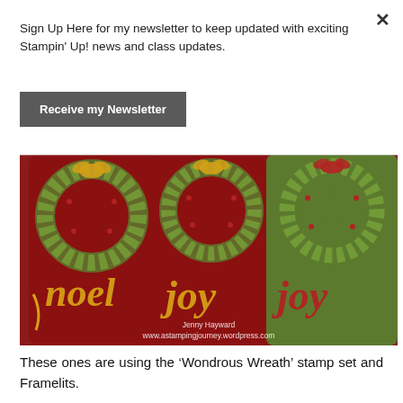Sign Up Here for my newsletter to keep updated with exciting Stampin' Up! news and class updates.
Receive my Newsletter
[Figure (photo): Three Christmas gift tags with holly wreaths and script words 'noel', 'joy', 'joy' in gold and red on dark red and green card stock. Watermarked: Jenny Hayward www.astampingjourney.wordpress.com]
These ones are using the ‘Wondrous Wreath’ stamp set and Framelits.